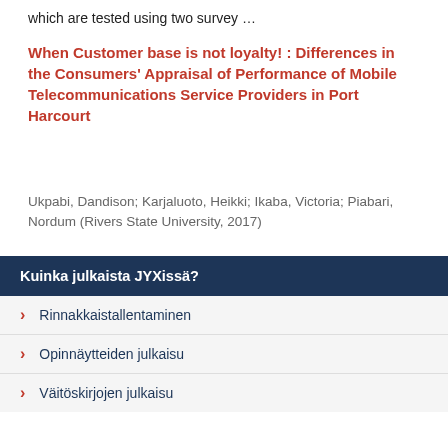which are tested using two survey …
When Customer base is not loyalty! : Differences in the Consumers' Appraisal of Performance of Mobile Telecommunications Service Providers in Port Harcourt
Ukpabi, Dandison; Karjaluoto, Heikki; Ikaba, Victoria; Piabari, Nordum (Rivers State University, 2017)
Reports from both local and international telecommunications agencies attest that Nigerian telecommunications industry is the fastest growing in Africa and one of the fastest growing in the world. Currently, the sector …
Kuinka julkaista JYXissä?
Rinnakkaistallentaminen
Opinnäytteiden julkaisu
Väitöskirjojen julkaisu